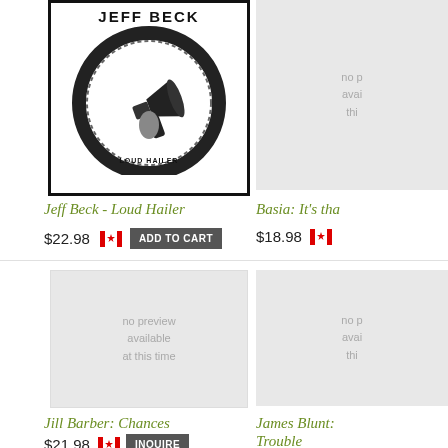[Figure (illustration): Jeff Beck - Loud Hailer album cover: black and white image of a hand holding a megaphone/loud hailer inside a circular floral wreath, with 'JEFF BECK' text at top and 'LOUD HAILER' at bottom, black border]
Jeff Beck - Loud Hailer
$22.98 [CA flag] ADD TO CART
[Figure (illustration): No preview available at this time - grey placeholder box]
Basia: It's tha...
$18.98 [CA flag]
[Figure (illustration): No preview available at this time - grey placeholder box, large]
Jill Barber: Chances
$21.98 [CA flag] INQUIRE
[Figure (illustration): No preview available at this time - grey placeholder box, partially visible on right]
James Blunt: Trouble
$...